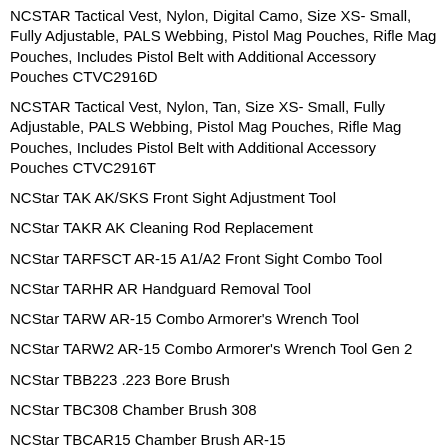NCSTAR Tactical Vest, Nylon, Digital Camo, Size XS- Small, Fully Adjustable, PALS Webbing, Pistol Mag Pouches, Rifle Mag Pouches, Includes Pistol Belt with Additional Accessory Pouches CTVC2916D
NCSTAR Tactical Vest, Nylon, Tan, Size XS- Small, Fully Adjustable, PALS Webbing, Pistol Mag Pouches, Rifle Mag Pouches, Includes Pistol Belt with Additional Accessory Pouches CTVC2916T
NCStar TAK AK/SKS Front Sight Adjustment Tool
NCStar TAKR AK Cleaning Rod Replacement
NCStar TARFSCT AR-15 A1/A2 Front Sight Combo Tool
NCStar TARHR AR Handguard Removal Tool
NCStar TARW AR-15 Combo Armorer's Wrench Tool
NCStar TARW2 AR-15 Combo Armorer's Wrench Tool Gen 2
NCStar TBB223 .223 Bore Brush
NCStar TBC308 Chamber Brush 308
NCStar TBCAR15 Chamber Brush AR-15
NCStar TGSARKB AR15/M4 Gunsmithing Tool Kit Black Roll-Up Cleaning Mat